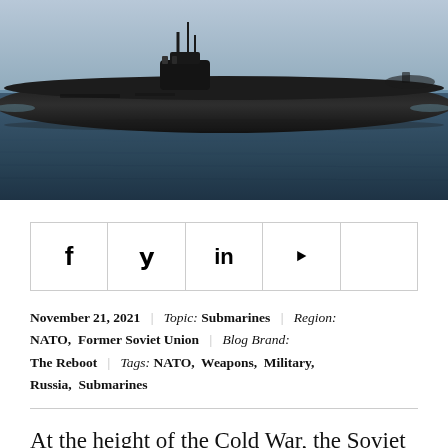[Figure (photo): A large submarine at sea, mostly submerged with its hull visible above the waterline, under a grey sky. Russian Borei-class or similar ballistic missile submarine.]
Social sharing icons: Facebook, Twitter, LinkedIn, RSS feed, and one more icon
November 21, 2021 | Topic: Submarines | Region: NATO, Former Soviet Union | Blog Brand: The Reboot | Tags: NATO, Weapons, Military, Russia, Submarines
At the height of the Cold War, the Soviet Union had so many hundreds of deadly submarines at sea that Western war planners